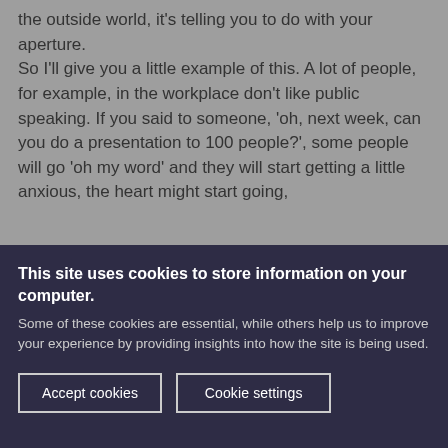the outside world, it's telling you to do with your aperture.
So I'll give you a little example of this. A lot of people, for example, in the workplace don't like public speaking. If you said to someone, 'oh, next week, can you do a presentation to 100 people?', some people will go 'oh my word' and they will start getting a little anxious, the heart might start going,
This site uses cookies to store information on your computer.
Some of these cookies are essential, while others help us to improve your experience by providing insights into how the site is being used.
Accept cookies
Cookie settings